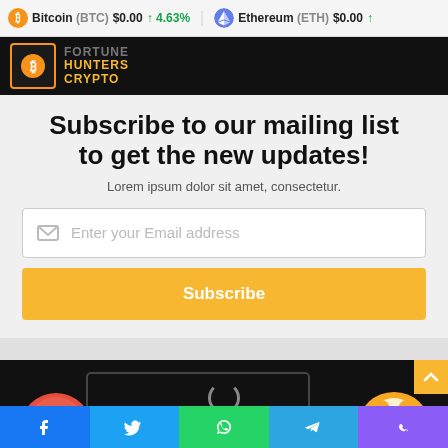Bitcoin (BTC) $0.00 ↑ 4.63% Ethereum (ETH) $0.00
[Figure (logo): Fortune Hunters Crypto logo with Bitcoin icon and orange/yellow text on black background]
Subscribe to our mailing list to get the new updates!
Lorem ipsum dolor sit amet, consectetur.
[Figure (screenshot): Email input field with envelope icon and placeholder text 'Enter your Email address']
[Figure (other): Subscribe button in yellow/gold color]
[Figure (illustration): Dark banner with crypto coin illustrations including a cat meme coin and red coin, with browser window outline]
Social share bar with Facebook, Twitter, WhatsApp, Telegram, and Phone icons